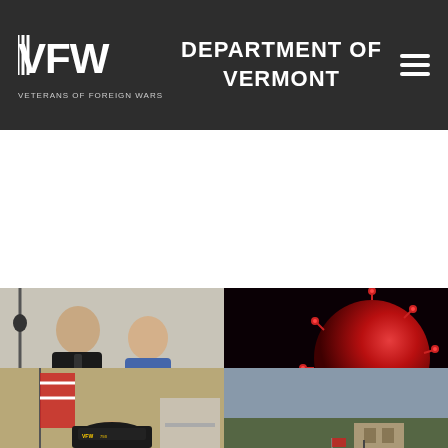VFW DEPARTMENT of VERMONT
[Figure (photo): Two people standing together, a man in a black suit and a woman in a blue blouse, posing for a photo indoors]
[Figure (photo): COVID-19 Coronavirus Disease 2019 graphic with red virus particle image on dark background]
[Figure (photo): Man wearing a VFW Post 793 cap and glasses, seated at a desk with an American flag behind him]
[Figure (photo): A submarine docked at a naval base with trees and buildings in the background]